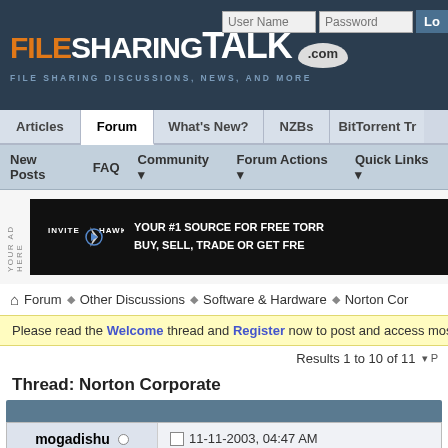FILESHARINGTALK.com — FILE SHARING DISCUSSIONS, NEWS, AND MORE
Navigation: Articles | Forum | What's New? | NZBs | BitTorrent Tr...
New Posts | FAQ | Community | Forum Actions | Quick Links
[Figure (screenshot): InviteHawk advertisement banner: YOUR #1 SOURCE FOR FREE TORR... BUY, SELL, TRADE OR GET FRE...]
Forum » Other Discussions » Software & Hardware » Norton Cor...
Please read the Welcome thread and Register now to post and access mos...
Results 1 to 10 of 11
Thread: Norton Corporate
| User | Date |
| --- | --- |
| mogadishu | 11-11-2003, 04:47 AM |
| mogadishu's Avatar | im trying to install but i keep getting th... |